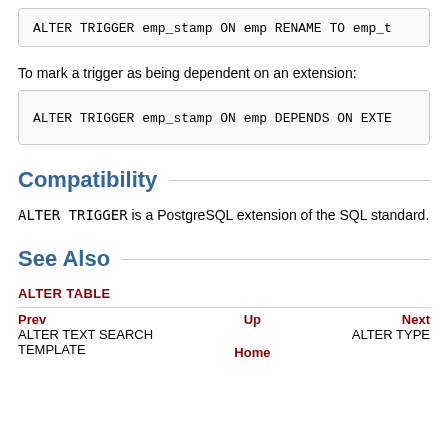ALTER TRIGGER emp_stamp ON emp RENAME TO emp_t
To mark a trigger as being dependent on an extension:
ALTER TRIGGER emp_stamp ON emp DEPENDS ON EXTE
Compatibility
ALTER TRIGGER is a PostgreSQL extension of the SQL standard.
See Also
ALTER TABLE
Prev | Up | Next | ALTER TEXT SEARCH TEMPLATE | Home | ALTER TYPE